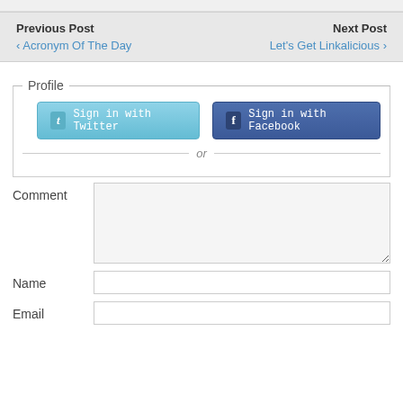Previous Post   ‹ Acronym Of The Day
Next Post   Let's Get Linkalicious ›
Profile
Sign in with Twitter
Sign in with Facebook
or
Comment
Name
Email